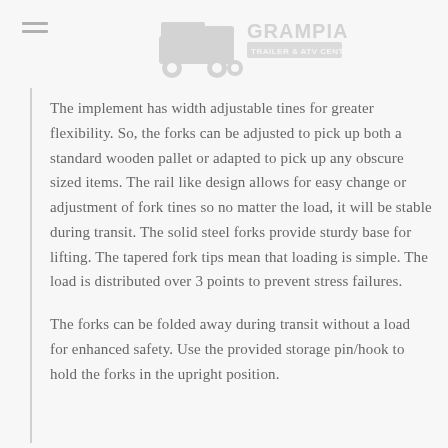GRAMPIAN TRAILER & ATV CENTRE
The implement has width adjustable tines for greater flexibility. So, the forks can be adjusted to pick up both a standard wooden pallet or adapted to pick up any obscure sized items. The rail like design allows for easy change or adjustment of fork tines so no matter the load, it will be stable during transit. The solid steel forks provide sturdy base for lifting. The tapered fork tips mean that loading is simple. The load is distributed over 3 points to prevent stress failures.
The forks can be folded away during transit without a load for enhanced safety. Use the provided storage pin/hook to hold the forks in the upright position.